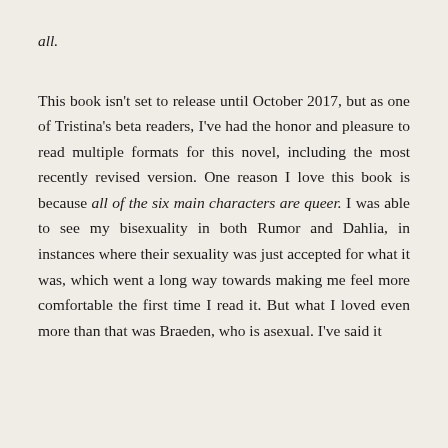all.
This book isn't set to release until October 2017, but as one of Tristina's beta readers, I've had the honor and pleasure to read multiple formats for this novel, including the most recently revised version. One reason I love this book is because all of the six main characters are queer. I was able to see my bisexuality in both Rumor and Dahlia, in instances where their sexuality was just accepted for what it was, which went a long way towards making me feel more comfortable the first time I read it. But what I loved even more than that was Braeden, who is asexual. I've said it